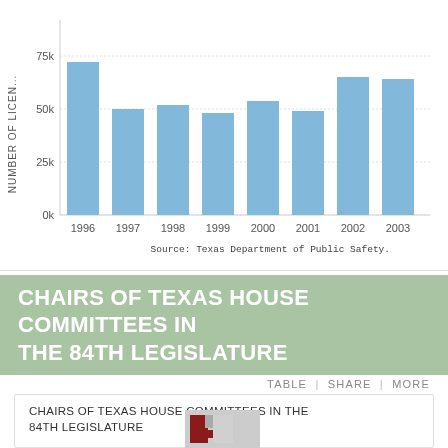[Figure (bar-chart): Number of Licenses by Year]
Source: Texas Department of Public Safety.
CHAIRS OF TEXAS HOUSE COMMITTEES IN THE 84TH LEGISLATURE
TABLE | SHARE | MORE
CHAIRS OF TEXAS HOUSE COMMITTEES IN THE 84TH LEGISLATURE
[Figure (logo): Logo image with red and gray geometric L-shape design]